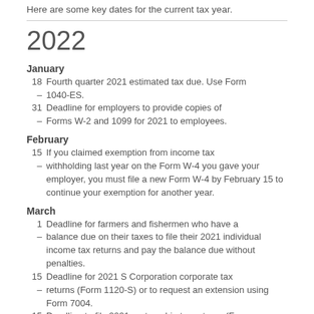Here are some key dates for the current tax year.
2022
January
18  Fourth quarter 2021 estimated tax due. Use Form 1040-ES.
31  Deadline for employers to provide copies of Forms W-2 and 1099 for 2021 to employees.
February
15  If you claimed exemption from income tax withholding last year on the Form W-4 you gave your employer, you must file a new Form W-4 by February 15 to continue your exemption for another year.
March
1  Deadline for farmers and fishermen who have a balance due on their taxes to file their 2021 individual income tax returns and pay the balance due without penalties.
15  Deadline for 2021 S Corporation corporate tax returns (Form 1120-S) or to request an extension using Form 7004.
15  Deadline to file 2021 partnership tax returns (Form